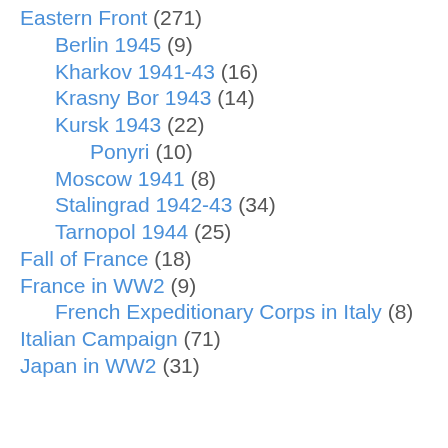Eastern Front (271)
Berlin 1945 (9)
Kharkov 1941-43 (16)
Krasny Bor 1943 (14)
Kursk 1943 (22)
Ponyri (10)
Moscow 1941 (8)
Stalingrad 1942-43 (34)
Tarnopol 1944 (25)
Fall of France (18)
France in WW2 (9)
French Expeditionary Corps in Italy (8)
Italian Campaign (71)
Japan in WW2 (31)